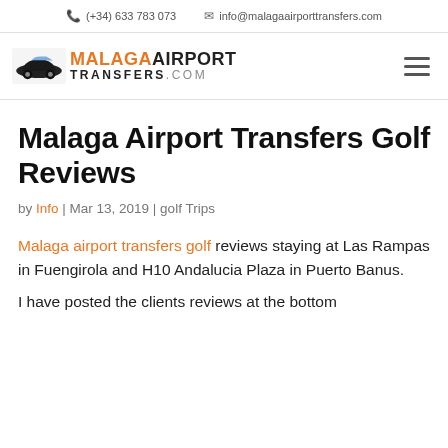(+34) 633 783 073   info@malagaairporttransfers.com
[Figure (logo): Malaga Airport Transfers .com logo with a dark car silhouette and orange/black text]
Malaga Airport Transfers Golf Reviews
by Info | Mar 13, 2019 | golf Trips
Malaga airport transfers golf reviews staying at Las Rampas in Fuengirola and H10 Andalucia Plaza in Puerto Banus.
I have posted the clients reviews at the bottom